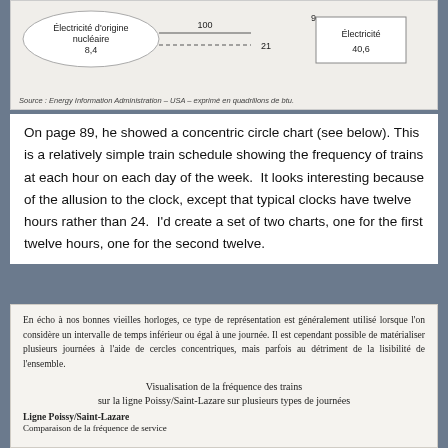[Figure (other): Partial view of an energy flow diagram showing Électricité d'origine nucléaire (8.4), with values 100, 9, 21, and Électricité 40.6]
Source : Energy Information Administration – USA – exprimé en quadrillons de btu.
On page 89, he showed a concentric circle chart (see below). This is a relatively simple train schedule showing the frequency of trains at each hour on each day of the week. It looks interesting because of the allusion to the clock, except that typical clocks have twelve hours rather than 24. I'd create a set of two charts, one for the first twelve hours, one for the second twelve.
En écho à nos bonnes vieilles horloges, ce type de représentation est généralement utilisé lorsque l'on considère un intervalle de temps inférieur ou égal à une journée. Il est cependant possible de matérialiser plusieurs journées à l'aide de cercles concentriques, mais parfois au détriment de la lisibilité de l'ensemble.
Visualisation de la fréquence des trains sur la ligne Poissy/Saint-Lazare sur plusieurs types de journées
Ligne Poissy/Saint-Lazare
Comparaison de la fréquence de service